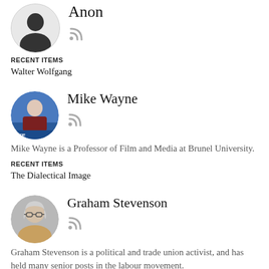[Figure (photo): Anonymous user avatar: silhouette of a person on light gray circular background]
Anon
RECENT ITEMS
Walter Wolfgang
[Figure (photo): Photo of Mike Wayne, a bald man at a podium with a blue background]
Mike Wayne
Mike Wayne is a Professor of Film and Media at Brunel University.
RECENT ITEMS
The Dialectical Image
[Figure (photo): Photo of Graham Stevenson, an older person with glasses and gray hair]
Graham Stevenson
Graham Stevenson is a political and trade union activist, and has held many senior posts in the labour movement.